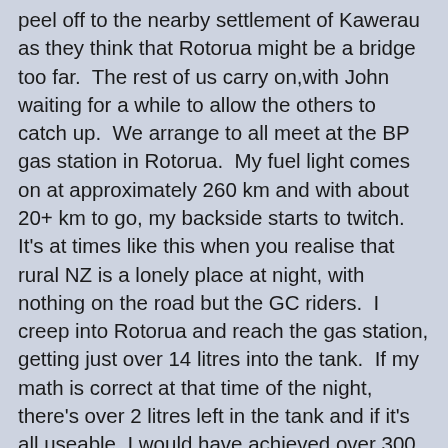peel off to the nearby settlement of Kawerau as they think that Rotorua might be a bridge too far.  The rest of us carry on,with John waiting for a while to allow the others to catch up.  We arrange to all meet at the BP gas station in Rotorua.  My fuel light comes on at approximately 260 km and with about 20+ km to go, my backside starts to twitch.  It's at times like this when you realise that rural NZ is a lonely place at night, with nothing on the road but the GC riders.  I creep into Rotorua and reach the gas station, getting just over 14 litres into the tank.  If my math is correct at that time of the night, there's over 2 litres left in the tank and if it's all useable, I would have achieved over 300 km to a tank.  Pretty darned fine for a Street Triple, even with fairly gentle throttle control over the last 140 km.  We're all reunited some 20 minutes later and set off for CP3.  A really fast transit as this is John's normal riding territory and he does a fantastic job of towing us along!  Refuel, log in with the Rustys manning the checkpoint and snatch some food and drink.  First light is less than 2 hours away and the spirits are starting to lift.  Interestingly, the GPS provided quite a psychological lift for me in the dark, watching the little triangle (me) steadily moving round the map!  And another